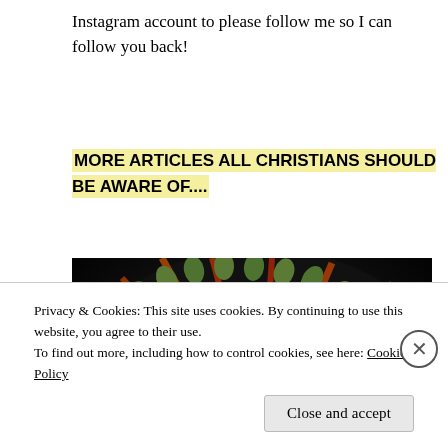Instagram account to please follow me so I can follow you back!
MORE ARTICLES ALL CHRISTIANS SHOULD BE AWARE OF....
[Figure (photo): Close-up macro photograph of a red cactus flower with green buds around the edge and a white textured center, on a dark background.]
Privacy & Cookies: This site uses cookies. By continuing to use this website, you agree to their use.
To find out more, including how to control cookies, see here: Cookie Policy
Close and accept